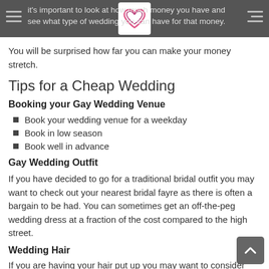it's important to look at how much money you have and see what type of wedding you can have for that money.
You will be surprised how far you can make your money stretch.
Tips for a Cheap Wedding
Booking your Gay Wedding Venue
Book your wedding venue for a weekday
Book in low season
Book well in advance
Gay Wedding Outfit
If you have decided to go for a traditional bridal outfit you may want to check out your nearest bridal fayre as there is often a bargain to be had. You can sometimes get an off-the-peg wedding dress at a fraction of the cost compared to the high street.
Wedding Hair
If you are having your hair put up you may want to consider going along to a college hair and beauty section